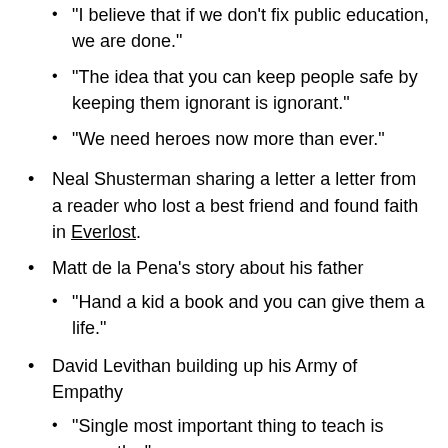"I believe that if we don't fix public education, we are done."
"The idea that you can keep people safe by keeping them ignorant is ignorant."
"We need heroes now more than ever."
Neal Shusterman sharing a letter a letter from a reader who lost a best friend and found faith in Everlost.
Matt de la Pena's story about his father
"Hand a kid a book and you can give them a life."
David Levithan building up his Army of Empathy
"Single most important thing to teach is empathy."
"These stories will make them a better person."